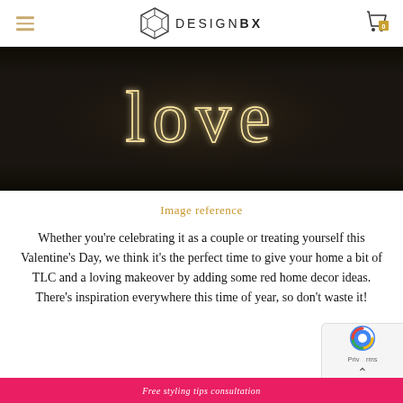DESIGN BX
[Figure (photo): Dark background with neon light letters spelling 'love']
Image reference
Whether you're celebrating it as a couple or treating yourself this Valentine's Day, we think it's the perfect time to give your home a bit of TLC and a loving makeover by adding some red home decor ideas. There's inspiration everywhere this time of year, so don't waste it!
Free styling tips consultation